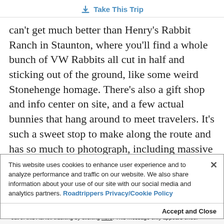Take This Trip
can't get much better than Henry's Rabbit Ranch in Staunton, where you'll find a whole bunch of VW Rabbits all cut in half and sticking out of the ground, like some weird Stonehenge homage. There's also a gift shop and info center on site, and a few actual bunnies that hang around to meet travelers. It's such a sweet stop to make along the route and has so much to photograph, including massive vintage Route 66 signs and memorabilia.
This website uses cookies to enhance user experience and to analyze performance and traffic on our website. We also share information about your use of our site with our social media and analytics partners. Roadtrippers Privacy/Cookie Policy
Accept and Close
Your browser settings do not allow cross-site tracking for advertising. Click on this page to allow AdRoll to use cross-site tracking to tailor ads to you. Learn more or opt out of this AdRoll tracking by clicking here. This message only appears once.